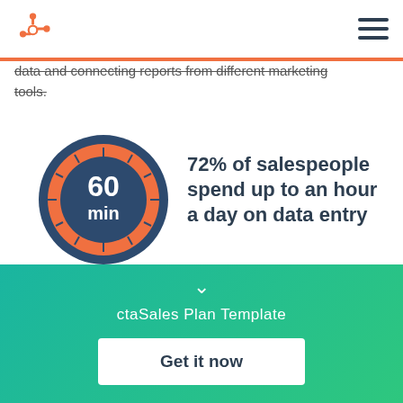HubSpot logo and navigation menu
data and connecting reports from different marketing tools.
[Figure (infographic): Clock/timer graphic showing 60 min, alongside text: 72% of salespeople spend up to an hour a day on data entry]
72% of salespeople spend up to an hour a day on data entry
ctaSales Plan Template
Get it now